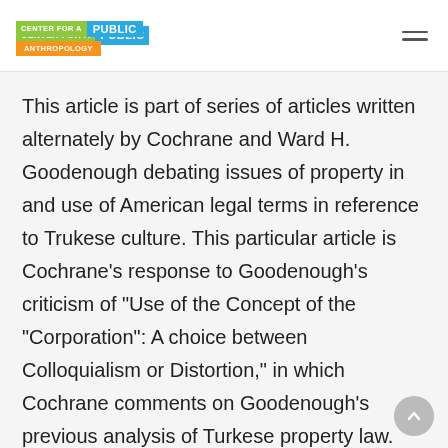CENTER FOR A PUBLIC ANTHROPOLOGY
This article is part of series of articles written alternately by Cochrane and Ward H. Goodenough debating issues of property in and use of American legal terms in reference to Trukese culture. This particular article is Cochrane’s response to Goodenough’s criticism of “Use of the Concept of the “Corporation”: A choice between Colloquialism or Distortion,” in which Cochrane comments on Goodenough’s previous analysis of Turkese property law.
Cochrane disagrees with Goodenough’s standards for applying the term…